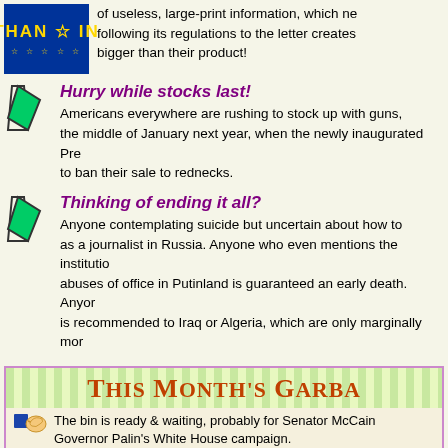[Figure (illustration): EU flag blue rectangle with yellow text THAN IN and yellow stars]
of useless, large-print information, which ne following its regulations to the letter creates bigger than their product!
Hurry while stocks last!
Americans everywhere are rushing to stock up with guns, the middle of January next year, when the newly inaugurated Pre to ban their sale to rednecks.
Thinking of ending it all?
Anyone contemplating suicide but uncertain about how to as a journalist in Russia. Anyone who even mentions the institutio abuses of office in Putinland is guaranteed an early death. Anyor is recommended to Iraq or Algeria, which are only marginally mor
This Month's Garba
The bin is ready & waiting, probably for Senator McCain Governor Palin's White House campaign.
Chief Superintendent D. Pryer of Sunderland police see to have been on a new labour propaganda course. He's prom to make his town safer by 2023. When he'll be long gone and available to be held to account if things don't work out.